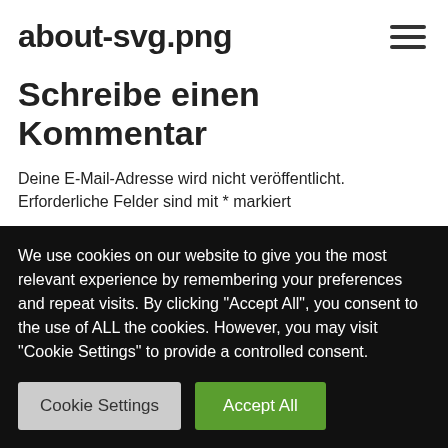about-svg.png
Schreibe einen Kommentar
Deine E-Mail-Adresse wird nicht veröffentlicht. Erforderliche Felder sind mit * markiert
Kommentar *
We use cookies on our website to give you the most relevant experience by remembering your preferences and repeat visits. By clicking "Accept All", you consent to the use of ALL the cookies. However, you may visit "Cookie Settings" to provide a controlled consent.